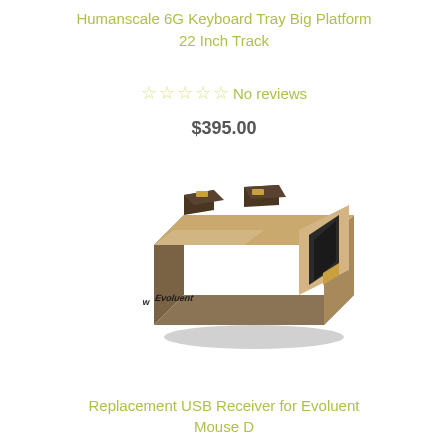Humanscale 6G Keyboard Tray Big Platform 22 Inch Track
☆☆☆☆☆ No reviews
$395.00
[Figure (photo): Small USB nano receiver/dongle branded 'Evoluent', metallic gold/bronze color, with dark brown connector tabs on top, photographed on white background]
Replacement USB Receiver for Evoluent Mouse D